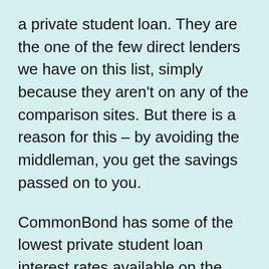a private student loan. They are the one of the few direct lenders we have on this list, simply because they aren't on any of the comparison sites. But there is a reason for this – by avoiding the middleman, you get the savings passed on to you.
CommonBond has some of the lowest private student loan interest rates available on the market right now, but they do require a cosigner for their loans. However, they also have a 2 year cosigner release, which is one of the shortest terms we've seen.